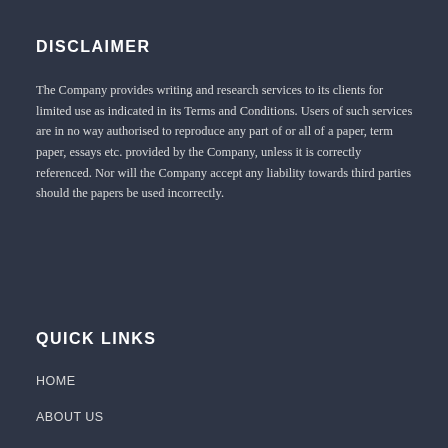DISCLAIMER
The Company provides writing and research services to its clients for limited use as indicated in its Terms and Conditions. Users of such services are in no way authorised to reproduce any part of or all of a paper, term paper, essays etc. provided by the Company, unless it is correctly referenced. Nor will the Company accept any liability towards third parties should the papers be used incorrectly.
QUICK LINKS
HOME
ABOUT US